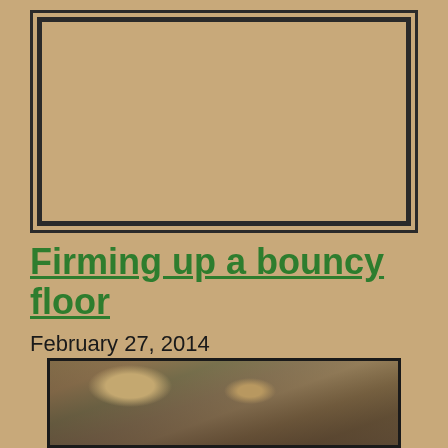[Figure (other): Placeholder image box with double border frame on tan/beige background]
Firming up a bouncy floor
February 27, 2014
[Figure (photo): Photograph showing a floor or ceiling structure from below, with wooden beams and OSB/plywood panels visible, construction or repair work in progress]